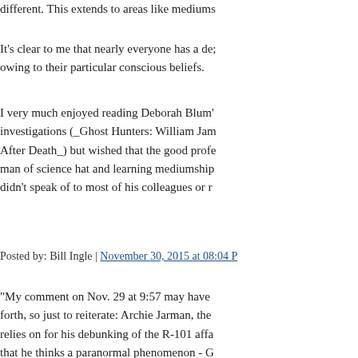different. This extends to areas like mediums
It's clear to me that nearly everyone has a de; owing to their particular conscious beliefs.
I very much enjoyed reading Deborah Blum' investigations (_Ghost Hunters: William Jam After Death_) but wished that the good profe man of science hat and learning mediumship didn't speak of to most of his colleagues or r
Posted by: Bill Ingle | November 30, 2015 at 08:04 P
"My comment on Nov. 29 at 9:57 may have forth, so just to reiterate: Archie Jarman, the relies on for his debunking of the R-101 affa that he thinks a paranormal phenomenon - G thoughts - is the most plausible explanation."
Yes this is an important point. Melvin Harris
Fuller and other spiritualists have Archie Jar the R101 case but Harris states the complete earlier. The spiritualists such as Fuller have n with Jarman before his death, so he is more n